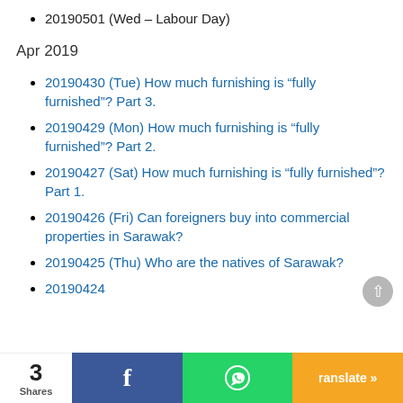20190501 (Wed – Labour Day)
Apr 2019
20190430 (Tue) How much furnishing is “fully furnished”? Part 3.
20190429 (Mon) How much furnishing is “fully furnished”? Part 2.
20190427 (Sat) How much furnishing is “fully furnished”? Part 1.
20190426 (Fri) Can foreigners buy into commercial properties in Sarawak?
20190425 (Thu) Who are the natives of Sarawak?
20190424 ... land?